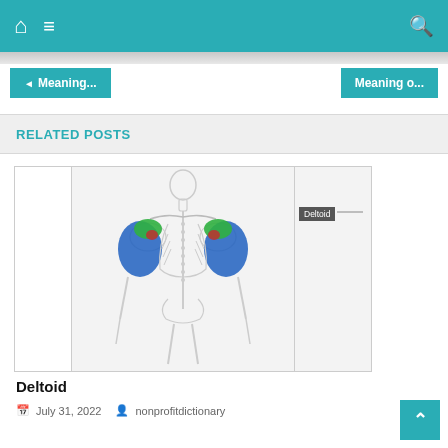Navigation bar with home, menu, and search icons
◄ Meaning...
Meaning o...
RELATED POSTS
[Figure (illustration): Anatomical illustration of the human upper body skeleton viewed from behind, showing the deltoid muscles highlighted in blue and green on both shoulders. A label reads 'Deltoid' with a line pointing to the muscle.]
Deltoid
July 31, 2022   nonprofitdictionary